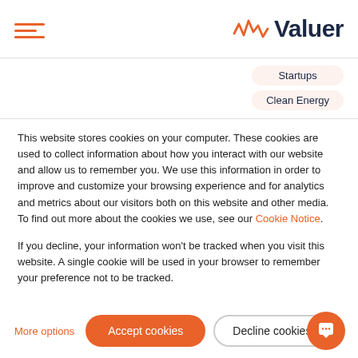Valuer
Startups
Clean Energy
This website stores cookies on your computer. These cookies are used to collect information about how you interact with our website and allow us to remember you. We use this information in order to improve and customize your browsing experience and for analytics and metrics about our visitors both on this website and other media. To find out more about the cookies we use, see our Cookie Notice.
If you decline, your information won't be tracked when you visit this website. A single cookie will be used in your browser to remember your preference not to be tracked.
More options
Accept cookies
Decline cookies